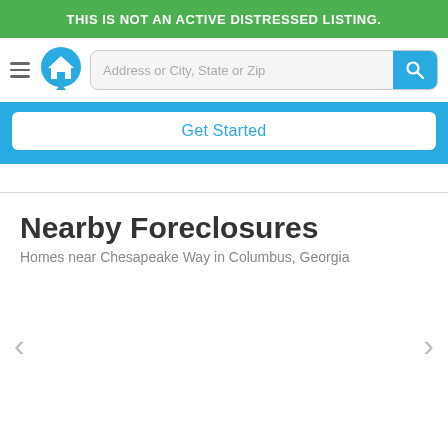THIS IS NOT AN ACTIVE DISTRESSED LISTING.
[Figure (screenshot): Navigation bar with hamburger menu, house logo, address search input, and blue search button]
Get Started
Nearby Foreclosures
Homes near Chesapeake Way in Columbus, Georgia